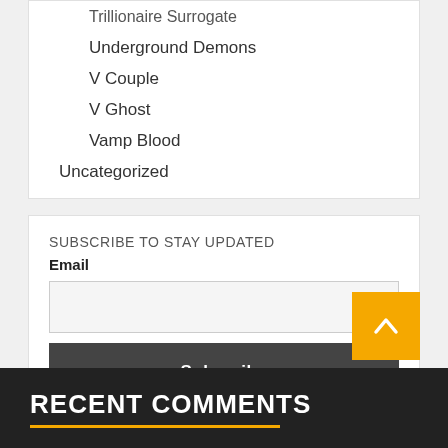Trillionaire Surrogate
Underground Demons
V Couple
V Ghost
Vamp Blood
Uncategorized
SUBSCRIBE TO STAY UPDATED
Email
Subscribe
RECENT COMMENTS